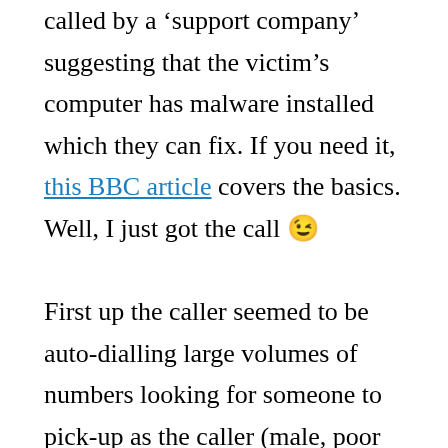called by a ‘support company’ suggesting that the victim’s computer has malware installed which they can fix. If you need it, this BBC article covers the basics. Well, I just got the call 😉 First up the caller seemed to be auto-dialling large volumes of numbers looking for someone to pick-up as the caller (male, poor line quality meant I missed the name given) was unprepared when I answered. The caller was clearly reading from a script, I may have